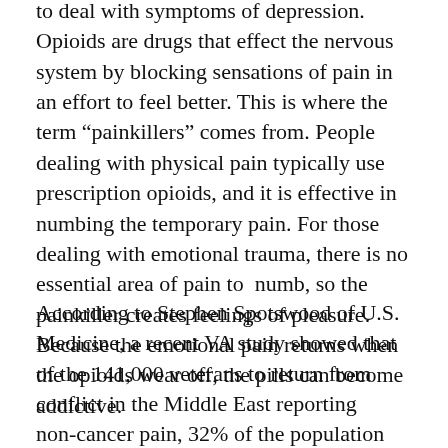to deal with symptoms of depression. Opioids are drugs that effect the nervous system by blocking sensations of pain in an effort to feel better. This is where the term “painkillers” comes from. People dealing with physical pain typically use prescription opioids, and it is effective in numbing the temporary pain. For those dealing with emotional trauma, there is no essential area of pain to  numb, so the painkiller creates feelings of pleasure. Because the emotional pain returns when the opioids wear off, the pills can become addictive.
According to Stephen Spotswood of U.S. Medicine, a recent VA study showed that of the 141,000 veterans to return from conflict in the Middle East reporting non-cancer pain, 32% of the population was diagnosed with PTSD. Of the 141,000, roughly 11% were prescribed opioids. Separating between those with PTSD and those without, some of the